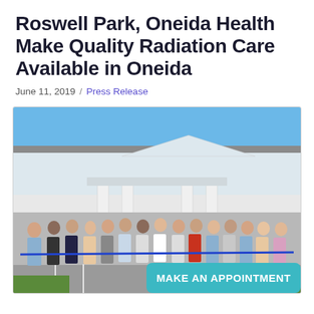Roswell Park, Oneida Health Make Quality Radiation Care Available in Oneida
June 11, 2019 / Press Release
[Figure (photo): Group photo of approximately 20 people standing in front of a white building with columns, holding a blue ribbon for a ribbon-cutting ceremony. A 'Make an Appointment' call-to-action button overlays the bottom right of the image.]